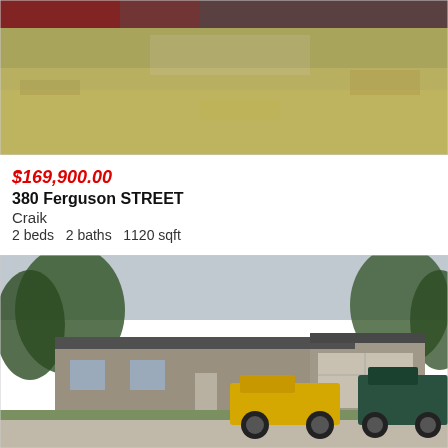[Figure (photo): Exterior photo of a property at 380 Ferguson Street, Craik — showing a house with a large grassy lawn, taken in summer. A red car is partially visible at the top left.]
$169,900.00
380 Ferguson STREET
Craik
2 beds   2 baths   1120 sqft
[Figure (photo): Exterior photo of a property on King Street — showing a single-story ranch-style house with attached garage. A yellow pickup truck and a dark green truck are parked in the driveway. Trees surround the property.]
$167,000.00
320 & 324 King STREET